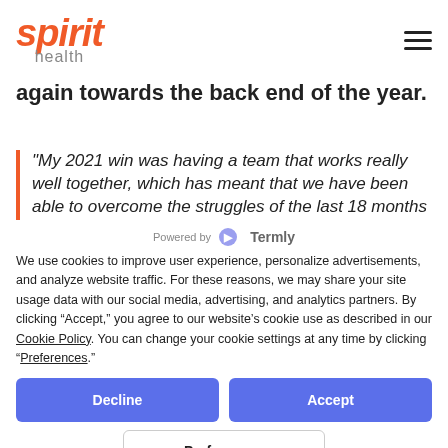spirit health
again towards the back end of the year.
“My 2021 win was having a team that works really well together, which has meant that we have been able to overcome the struggles of the last 18 months and finally bring our valuable service back
Powered by Termly
We use cookies to improve user experience, personalize advertisements, and analyze website traffic. For these reasons, we may share your site usage data with our social media, advertising, and analytics partners. By clicking “Accept,” you agree to our website’s cookie use as described in our Cookie Policy. You can change your cookie settings at any time by clicking “Preferences.”
Decline
Accept
Preferences
Awards &amp; Accolades
From winning Best COVID-19 Remote-Monitoring Solution at the Health Tech Digital Awards 2021, to Supporting Healthcare Teams through Technology